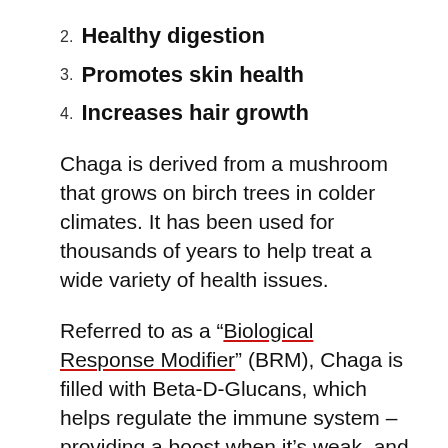2. Healthy digestion
3. Promotes skin health
4. Increases hair growth
Chaga is derived from a mushroom that grows on birch trees in colder climates. It has been used for thousands of years to help treat a wide variety of health issues.
Referred to as a “Biological Response Modifier” (BRM), Chaga is filled with Beta-D-Glucans, which helps regulate the immune system – providing a boost when it’s weak, and slowing it down when it’s